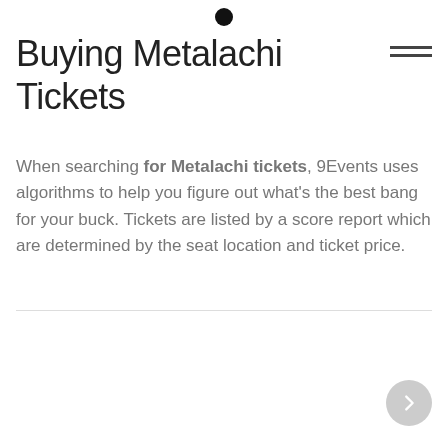•
Buying Metalachi Tickets
When searching for Metalachi tickets, 9Events uses algorithms to help you figure out what's the best bang for your buck. Tickets are listed by a score report which are determined by the seat location and ticket price.